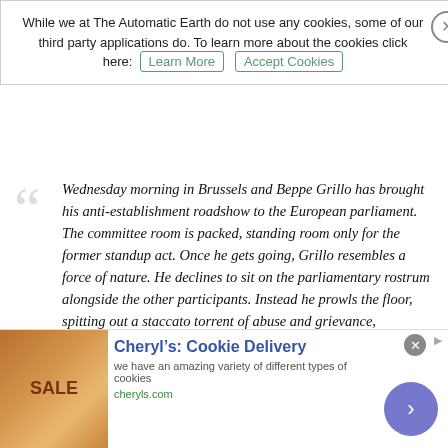While we at The Automatic Earth do not use any cookies, some of our third party applications do. To learn more about the cookies click here: Learn More  Accept Cookies
Wednesday morning in Brussels and Beppe Grillo has brought his anti-establishment roadshow to the European parliament. The committee room is packed, standing room only for the former standup act. Once he gets going, Grillo resembles a force of nature. He declines to sit on the parliamentary rostrum alongside the other participants. Instead he prowls the floor, spitting out a staccato torrent of abuse and grievance, unscripted, unstoppable, laugh-a-minute. “I’m a bit over the top,” Grillo admits when he first pauses to draw breath after half an hour. “Maybe I should stop here.” Grillo is the Mr Angry of Italian and, increasingly, European politics. His Five Star Movement is running a consistent second in the opinion polls at around 20% behind the modernising centre-left of the Democratic Centre of prime minister Matteo Renzi.
[Figure (other): Advertisement banner for Cheryl's Cookie Delivery with cookie image, title, description and call-to-action button]